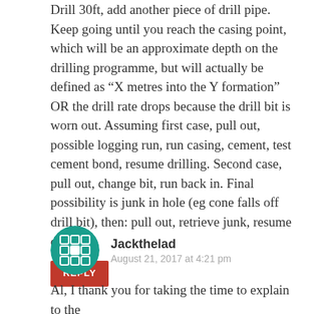Drill 30ft, add another piece of drill pipe. Keep going until you reach the casing point, which will be an approximate depth on the drilling programme, but will actually be defined as “X metres into the Y formation” OR the drill rate drops because the drill bit is worn out. Assuming first case, pull out, possible logging run, run casing, cement, test cement bond, resume drilling. Second case, pull out, change bit, run back in. Final possibility is junk in hole (eg cone falls off drill bit), then: pull out, retrieve junk, resume drilling.
REPLY
Jackthelad
August 21, 2017 at 4:21 pm
Al, I thank you for taking the time to explain to the